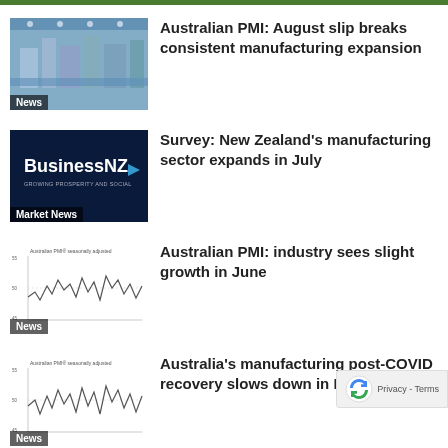[Figure (photo): Manufacturing facility interior with machinery and blue lighting]
Australian PMI: August slip breaks consistent manufacturing expansion
[Figure (logo): BusinessNZ logo on dark blue background]
Survey: New Zealand's manufacturing sector expands in July
[Figure (line-chart): Australian PMI seasonally adjusted line chart thumbnail]
Australian PMI: industry sees slight growth in June
[Figure (line-chart): Australian PMI seasonally adjusted line chart thumbnail]
Australia's manufacturing post-COVID recovery slows down in May
[Figure (photo): Sky with clouds photo thumbnail]
Royal Wolf Innovation Delivers Stunning…